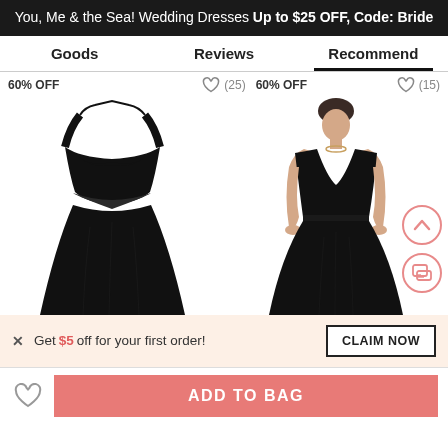You, Me & the Sea! Wedding Dresses Up to $25 OFF, Code: Bride
Goods
Reviews
Recommend
60% OFF ♡ (25) 60% OFF ♡ (15)
[Figure (photo): Black halter-neck floor-length chiffon dress on left; black V-neck sleeveless floor-length dress on model on right]
× Get $5 off for your first order!
CLAIM NOW
ADD TO BAG